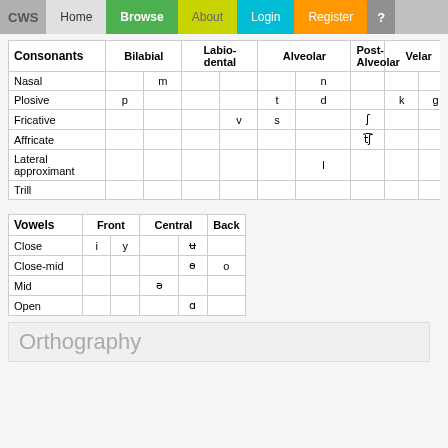CWS | Home | Browse | About | Login | Register | ?
| Consonants | Bilabial | Labio-dental | Alveolar |  | Post-Alveolar | Velar |  | Uvul |
| --- | --- | --- | --- | --- | --- | --- | --- | --- |
| Nasal |  | m |  | n |  |  |  |  |
| Plosive | p |  |  | t | d |  | k | g |
| Fricative |  |  | v | s |  | ʃ |  |  |
| Affricate |  |  |  |  |  | t͡ʃ |  |  |
| Lateral approximant |  |  |  |  | l |  |  |  |
| Trill |  |  |  |  |  |  |  |  |
| Vowels | Front |  | Central |  | Back |
| --- | --- | --- | --- | --- | --- |
| Close | i | y |  | ʉ |  |
| Close-mid |  |  |  | ɵ | o |
| Mid |  |  | ə |  |  |
| Open |  |  |  | ɑ |  |
Orthography